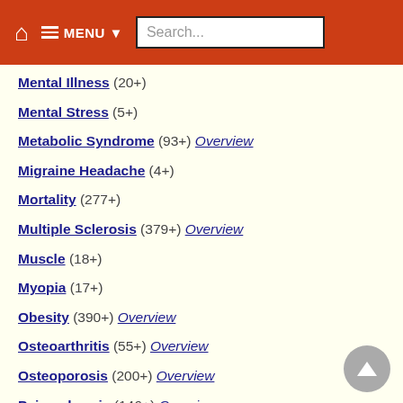MENU Search...
Mental Illness (20+)
Mental Stress (5+)
Metabolic Syndrome (93+) Overview
Migraine Headache (4+)
Mortality (277+)
Multiple Sclerosis (379+) Overview
Muscle (18+)
Myopia (17+)
Obesity (390+) Overview
Osteoarthritis (55+) Overview
Osteoporosis (200+) Overview
Pain - chronic (146+) Overview
Parkinson's (94+) Overview